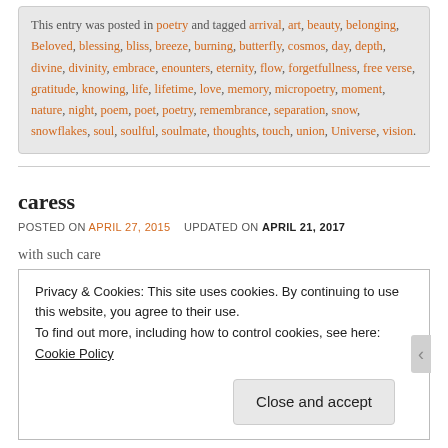This entry was posted in poetry and tagged arrival, art, beauty, belonging, Beloved, blessing, bliss, breeze, burning, butterfly, cosmos, day, depth, divine, divinity, embrace, enounters, eternity, flow, forgetfullness, free verse, gratitude, knowing, life, lifetime, love, memory, micropoetry, moment, nature, night, poem, poet, poetry, remembrance, separation, snow, snowflakes, soul, soulful, soulmate, thoughts, touch, union, Universe, vision.
caress
POSTED ON APRIL 27, 2015   UPDATED ON APRIL 21, 2017
with such care
Privacy & Cookies: This site uses cookies. By continuing to use this website, you agree to their use. To find out more, including how to control cookies, see here: Cookie Policy